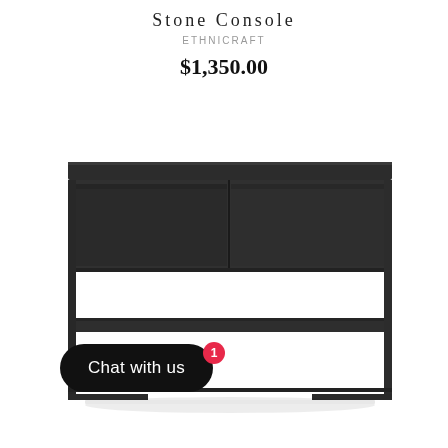Stone Console
ETHNICRAFT
$1,350.00
[Figure (photo): Dark charcoal/black metal console table with two drawers and an open lower shelf, shown on a white background. The table has thin metal legs and a minimalist industrial style.]
Chat with us